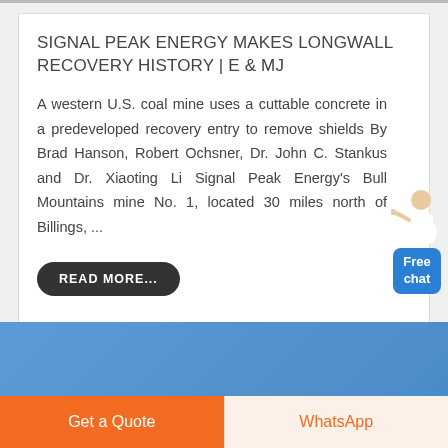SIGNAL PEAK ENERGY MAKES LONGWALL RECOVERY HISTORY | E & MJ
A western U.S. coal mine uses a cuttable concrete in a predeveloped recovery entry to remove shields By Brad Hanson, Robert Ochsner, Dr. John C. Stankus and Dr. Xiaoting Li Signal Peak Energy's Bull Mountains mine No. 1, located 30 miles north of Billings, ...
READ MORE...
[Figure (other): Blue gradient banner section at bottom of page]
Get a Quote
WhatsApp